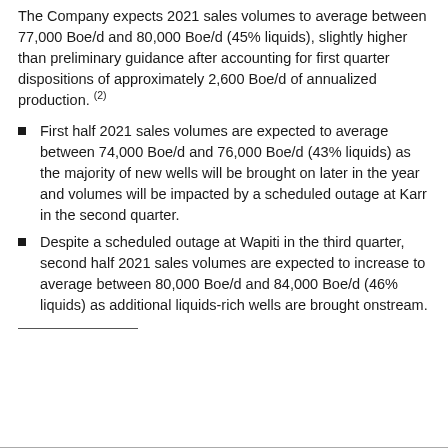The Company expects 2021 sales volumes to average between 77,000 Boe/d and 80,000 Boe/d (45% liquids), slightly higher than preliminary guidance after accounting for first quarter dispositions of approximately 2,600 Boe/d of annualized production. (2)
First half 2021 sales volumes are expected to average between 74,000 Boe/d and 76,000 Boe/d (43% liquids) as the majority of new wells will be brought on later in the year and volumes will be impacted by a scheduled outage at Karr in the second quarter.
Despite a scheduled outage at Wapiti in the third quarter, second half 2021 sales volumes are expected to increase to average between 80,000 Boe/d and 84,000 Boe/d (46% liquids) as additional liquids-rich wells are brought onstream.